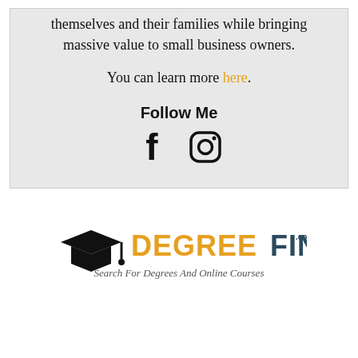themselves and their families while bringing massive value to small business owners.
You can learn more here.
Follow Me
[Figure (logo): Degree Finders logo with graduation cap icon, orange DEGREE text, dark gray FINDERS text, .com superscript, and italic tagline 'Search For Degrees And Online Courses']